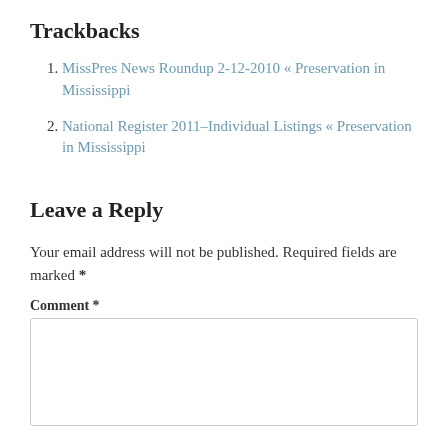Trackbacks
MissPres News Roundup 2-12-2010 « Preservation in Mississippi
National Register 2011–Individual Listings « Preservation in Mississippi
Leave a Reply
Your email address will not be published. Required fields are marked *
Comment *